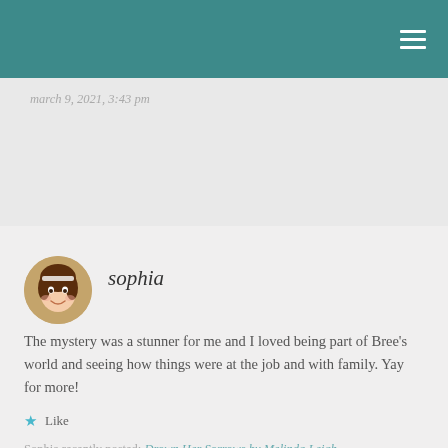march 9, 2021, 3:43 pm
sophia
The mystery was a stunner for me and I loved being part of Bree's world and seeing how things were at the job and with family. Yay for more!
Like
Sophia recently posted: Drown Her Sorrows by Melinda Leigh
march 9, 2021, 1:37 pm
anne – books of my heart
Yes I loved it and I appreciate so much the buddy read with you. Another perspective is